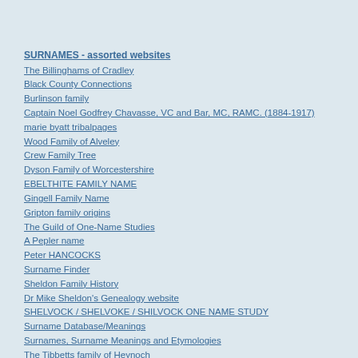SURNAMES - assorted websites
The Billinghams of Cradley
Black County Connections
Burlinson family
Captain Noel Godfrey Chavasse, VC and Bar, MC, RAMC. (1884-1917)
marie byatt tribalpages
Wood Family of Alveley
Crew Family Tree
Dyson Family of Worcestershire
EBELTHITE FAMILY NAME
Gingell Family Name
Gripton family origins
The Guild of One-Name Studies
A Pepler name
Peter HANCOCKS
Surname Finder
Sheldon Family History
Dr Mike Sheldon's Genealogy website
SHELVOCK / SHELVOKE / SHILVOCK ONE NAME STUDY
Surname Database/Meanings
Surnames, Surname Meanings and Etymologies
The Tibbetts family of Heynoch